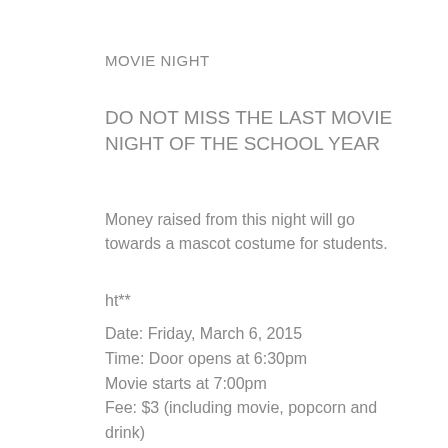MOVIE NIGHT
DO NOT MISS THE LAST MOVIE NIGHT OF THE SCHOOL YEAR
Money raised from this night will go towards a mascot costume for students.
ht**
Date: Friday, March 6, 2015
Time: Door opens at 6:30pm
Movie starts at 7:00pm
Fee: $3 (including movie, popcorn and drink)
Concessions are available at $0.50 each.
**Please, no outside food at movie night.
Movie: Big Hero 6
The special bond that develops between plus-sized inflatable robot Baymax, and prodigy Hiro Hamada, who team up with a group of friends to form a band of